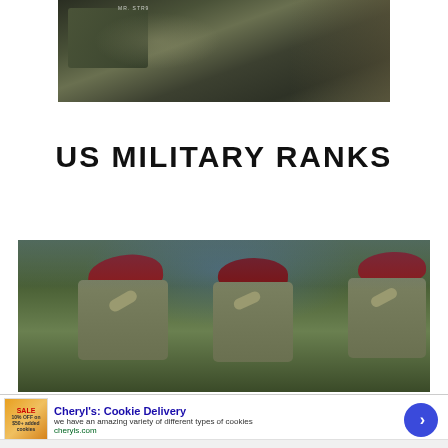[Figure (photo): Soldier in camouflage uniform aiming a rifle, close-up military action photo]
US MILITARY RANKS
[Figure (photo): Multiple soldiers in camouflage uniforms wearing red berets, saluting — military ceremony photo]
[Figure (photo): Advertisement banner: Cheryl's Cookie Delivery — 'we have an amazing variety of different types of cookies' — cheryls.com]